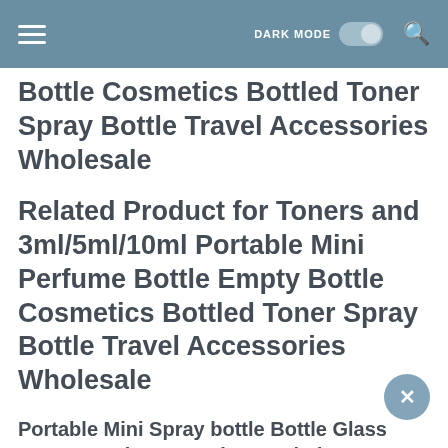DARK MODE [toggle] [search]
Bottle Cosmetics Bottled Toner Spray Bottle Travel Accessories Wholesale
Related Product for Toners and 3ml/5ml/10ml Portable Mini Perfume Bottle Empty Bottle Cosmetics Bottled Toner Spray Bottle Travel Accessories Wholesale
Portable Mini Spray bottle Bottle Glass Empty Bottle Cosmetics Bottled Toner Spray Bottle Nebulizer 30ml 50ml 100ml...